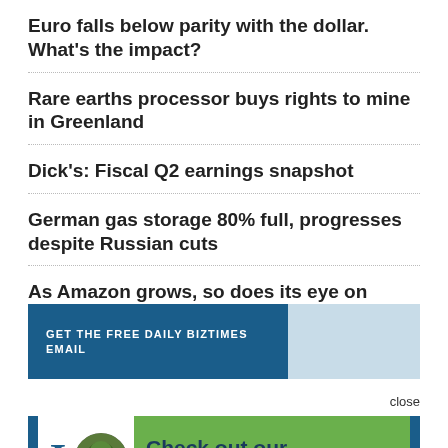Euro falls below parity with the dollar. What's the impact?
Rare earths processor buys rights to mine in Greenland
Dick's: Fiscal Q2 earnings snapshot
German gas storage 80% full, progresses despite Russian cuts
As Amazon grows, so does its eye on consumers
GET THE FREE DAILY BIZTIMES EMAIL
close
[Figure (infographic): Advertisement banner with tree logo and text 'Check out our Deposit Specials']